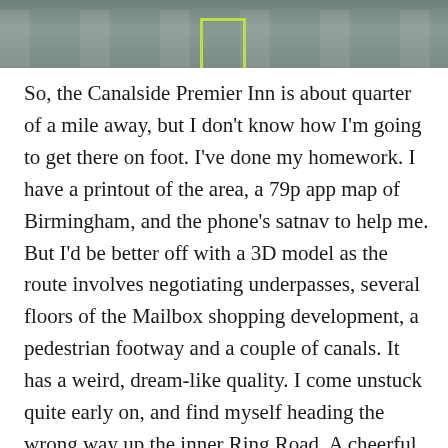[Figure (photo): Aerial view of an urban area with pedestrians and a highlighted green rectangle overlaid on the scene.]
So, the Canalside Premier Inn is about quarter of a mile away, but I don't know how I'm going to get there on foot. I've done my homework. I have a printout of the area, a 79p app map of Birmingham, and the phone's satnav to help me. But I'd be better off with a 3D model as the route involves negotiating underpasses, several floors of the Mailbox shopping development, a pedestrian footway and a couple of canals. It has a weird, dream-like quality. I come unstuck quite early on, and find myself heading the wrong way up the inner Ring Road. A cheerful Brummie lady rescues me (most Brummies are cheerful). 'You want to go back the way you came,' she tells me firmly. She knows how to decipher the path through the jungle.